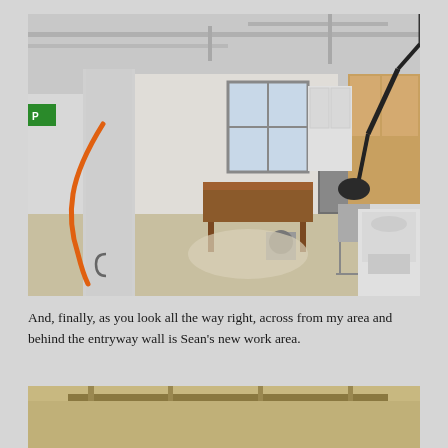[Figure (photo): Interior workshop/studio space with white walls and exposed ceiling pipes. A large white column with an orange hose is prominent on the left. Workbenches along the windows, a black articulating lamp arm on the right, white cabinetry, a large white piece of equipment (possibly a printing press or roller), and various tools and chairs visible.]
And, finally, as you look all the way right, across from my area and behind the entryway wall is Sean's new work area.
[Figure (photo): Partial view of ceiling with exposed metal pipes/conduits and wooden beams, appearing to be the same workshop space.]